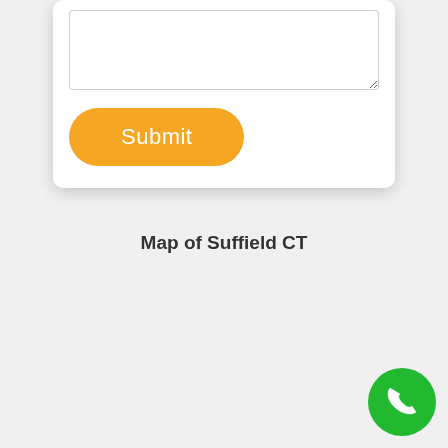[Figure (screenshot): A white card UI element with a textarea input field and an orange rounded Submit button below it.]
Map of Suffield CT
[Figure (illustration): A green circular phone/call button icon in the bottom right corner of the page.]